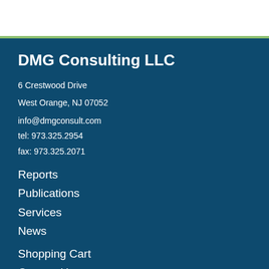DMG Consulting LLC
6 Crestwood Drive
West Orange, NJ 07052
info@dmgconsult.com
tel: 973.325.2954
fax: 973.325.2071
Reports
Publications
Services
News
Shopping Cart
Contact Us
About Us